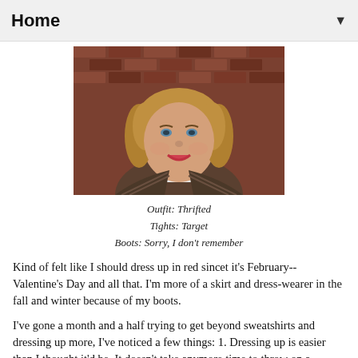Home
[Figure (photo): Close-up photo of a smiling young woman with curly blonde hair and blue eyes, wearing a striped jacket, standing in front of a brick wall background.]
Outfit: Thrifted
Tights: Target
Boots: Sorry, I don't remember
Kind of felt like I should dress up in red sincet it's February-- Valentine's Day and all that. I'm more of a skirt and dress-wearer in the fall and winter because of my boots.
I've gone a month and a half trying to get beyond sweatshirts and dressing up more, I've noticed a few things: 1. Dressing up is easier than I thought it'd be. It doesn't take anymore time to throw on a cardigan than it does a sweatshirt. 2. Having said that, I do tend to